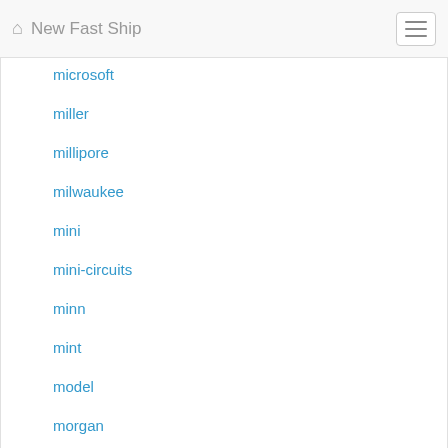New Fast Ship
microsoft
miller
millipore
milwaukee
mini
mini-circuits
minn
mint
model
morgan